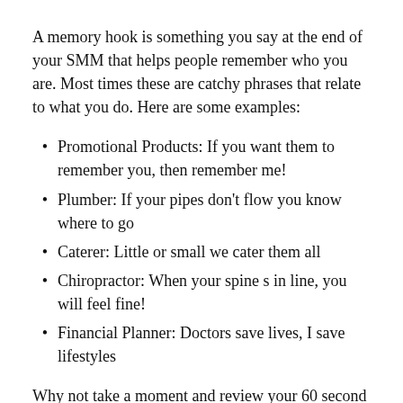A memory hook is something you say at the end of your SMM that helps people remember who you are. Most times these are catchy phrases that relate to what you do. Here are some examples:
Promotional Products: If you want them to remember you, then remember me!
Plumber: If your pipes don't flow you know where to go
Caterer: Little or small we cater them all
Chiropractor: When your spine s in line, you will feel fine!
Financial Planner: Doctors save lives, I save lifestyles
Why not take a moment and review your 60 second commercial to insure you are covering all these parts. A successful Sales Manager Minute or 60